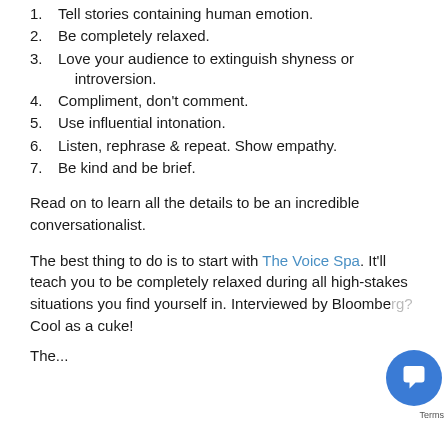1. Tell stories containing human emotion.
2. Be completely relaxed.
3. Love your audience to extinguish shyness or introversion.
4. Compliment, don't comment.
5. Use influential intonation.
6. Listen, rephrase & repeat. Show empathy.
7. Be kind and be brief.
Read on to learn all the details to be an incredible conversationalist.
The best thing to do is to start with The Voice Spa. It'll teach you to be completely relaxed during all high-stakes situations you find yourself in. Interviewed by Bloomberg? Cool as a cuke!
The...